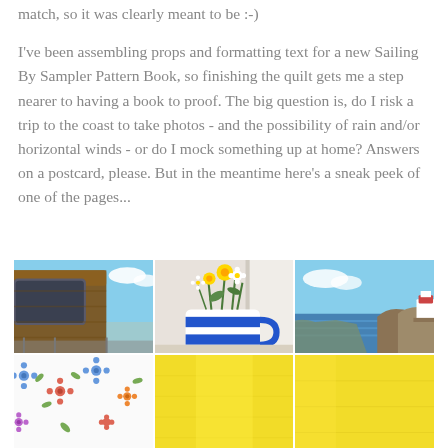match, so it was clearly meant to be :-)
I've been assembling props and formatting text for a new Sailing By Sampler Pattern Book, so finishing the quilt gets me a step nearer to having a book to proof. The big question is, do I risk a trip to the coast to take photos - and the possibility of rain and/or horizontal winds - or do I mock something up at home? Answers on a postcard, please. But in the meantime here's a sneak peek of one of the pages...
[Figure (photo): A collage of six photos arranged in a 3x2 grid: top-left shows a wooden boat cabin/cockpit with blue sky; top-center shows a blue and white striped mug with wildflowers (daisies, yellow flowers); top-right shows a coastal scene with water and a small lighthouse/building on rocks; bottom-left shows white fabric with colorful floral print; bottom-center and bottom-right show yellow fabric/textile.]